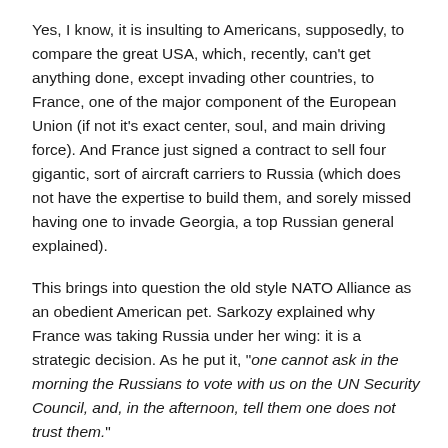Yes, I know, it is insulting to Americans, supposedly, to compare the great USA, which, recently, can't get anything done, except invading other countries, to France, one of the major component of the European Union (if not it's exact center, soul, and main driving force). And France just signed a contract to sell four gigantic, sort of aircraft carriers to Russia (which does not have the expertise to build them, and sorely missed having one to invade Georgia, a top Russian general explained).
This brings into question the old style NATO Alliance as an obedient American pet. Sarkozy explained why France was taking Russia under her wing: it is a strategic decision. As he put it, "one cannot ask in the morning the Russians to vote with us on the UN Security Council, and, in the afternoon, tell them one does not trust them."